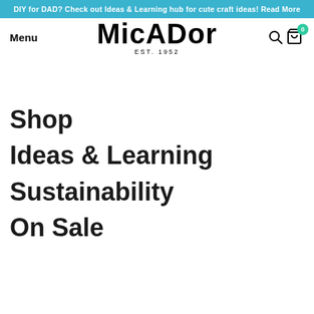DIY for DAD? Check out Ideas & Learning hub for cute craft ideas! Read More
Menu
Micador EST. 1952
Shop
Ideas & Learning
Sustainability
On Sale